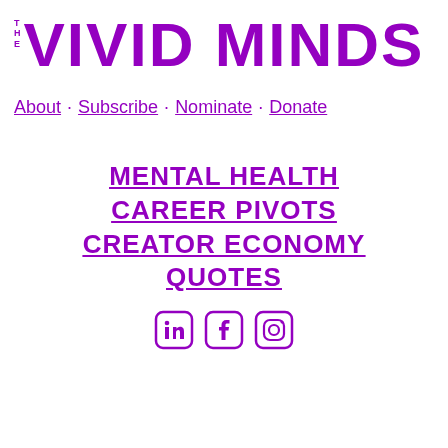THE VIVID MINDS
About · Subscribe · Nominate · Donate
MENTAL HEALTH
CAREER PIVOTS
CREATOR ECONOMY
QUOTES
[Figure (other): Social media icons: LinkedIn, Facebook, Instagram in purple]